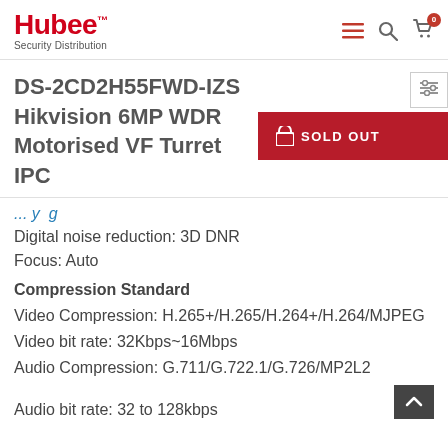Hubee Security Distribution
DS-2CD2H55FWD-IZS Hikvision 6MP WDR Motorised VF Turret IPC
Digital noise reduction: 3D DNR
Focus: Auto
Compression Standard
Video Compression: H.265+/H.265/H.264+/H.264/MJPEG
Video bit rate: 32Kbps~16Mbps
Audio Compression: G.711/G.722.1/G.726/MP2L2
Audio bit rate: 32 to 128kbps